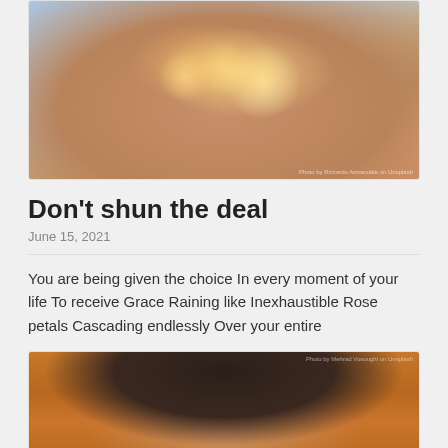[Figure (photo): A hand holding fairy lights against a light blue background, with warm glowing lights visible between the fingers.]
Don't shun the deal
June 15, 2021
You are being given the choice In every moment of your life To receive Grace Raining like Inexhaustible Rose petals Cascading endlessly Over your entire
[Figure (photo): A person with dark hair photographed from the side against an orange/brown background, eyes closed.]